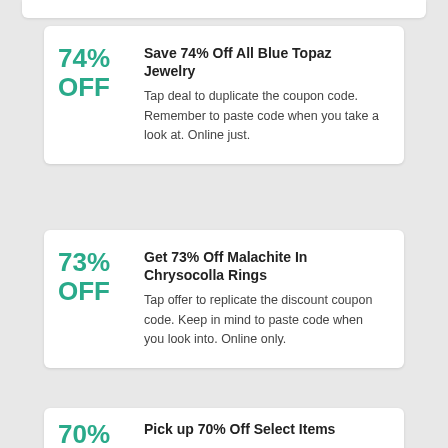74% OFF
Save 74% Off All Blue Topaz Jewelry
Tap deal to duplicate the coupon code. Remember to paste code when you take a look at. Online just.
73% OFF
Get 73% Off Malachite In Chrysocolla Rings
Tap offer to replicate the discount coupon code. Keep in mind to paste code when you look into. Online only.
70%
Pick up 70% Off Select Items